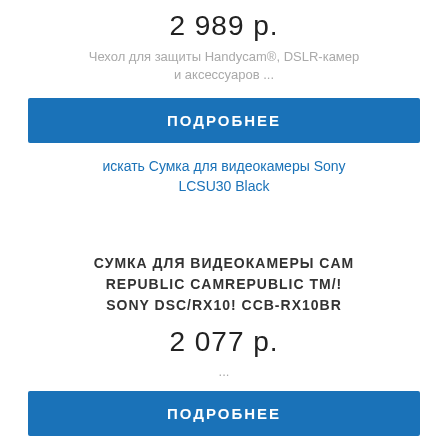2 989 р.
Чехол для защиты Handycam®, DSLR-камер и аксессуаров ...
ПОДРОБНЕЕ
искать Сумка для видеокамеры Sony LCSU30 Black
СУМКА ДЛЯ ВИДЕОКАМЕРЫ CAM REPUBLIC CAMREPUBLIC TM/! SONY DSC/RX10! CCB-RX10BR
2 077 р.
...
ПОДРОБНЕЕ